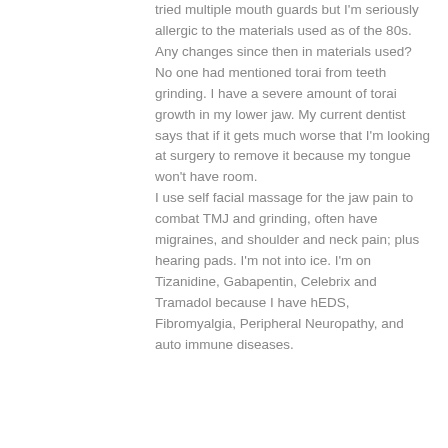tried multiple mouth guards but I'm seriously allergic to the materials used as of the 80s. Any changes since then in materials used?
No one had mentioned torai from teeth grinding. I have a severe amount of torai growth in my lower jaw. My current dentist says that if it gets much worse that I'm looking at surgery to remove it because my tongue won't have room.
I use self facial massage for the jaw pain to combat TMJ and grinding, often have migraines, and shoulder and neck pain; plus hearing pads. I'm not into ice. I'm on Tizanidine, Gabapentin, Celebrix and Tramadol because I have hEDS, Fibromyalgia, Peripheral Neuropathy, and auto immune diseases.